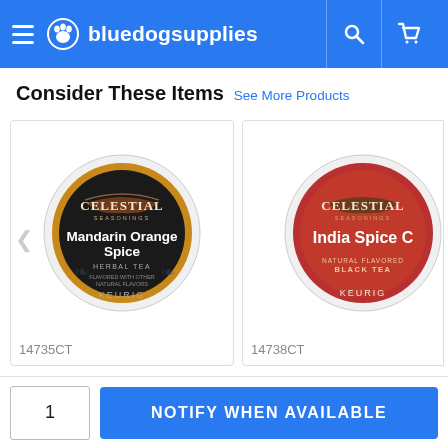bluedogsupplies
Consider These Items  See More Products
[Figure (photo): Celestial Seasonings Mandarin Orange Spice Herbal Tea Keurig K-Cup top view, black and gold circular pod]
14735CT
[Figure (photo): Celestial Seasonings India Spice Chai Natural Flavored Black Tea Keurig K-Cup top view, red circular pod (partially cropped)]
14738CT
1
NOTIFY WHEN AVAILABLE